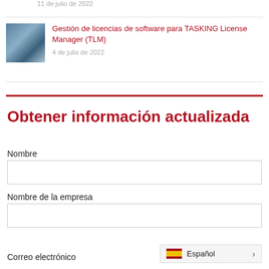11 de julio de 2022
Gestión de licencias de software para TASKING License Manager (TLM)
4 de julio de 2022
Obtener información actualizada
Nombre
Nombre de la empresa
Correo electrónico
Español